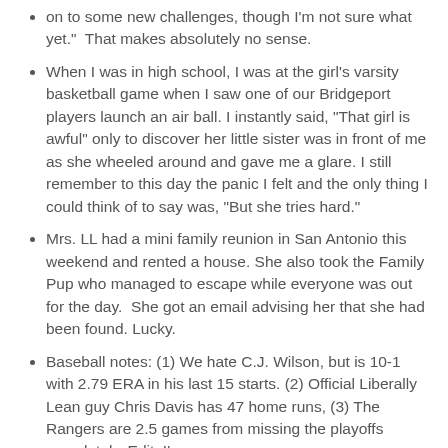on to some new challenges, though I'm not sure what yet."  That makes absolutely no sense.
When I was in high school, I was at the girl's varsity basketball game when I saw one of our Bridgeport players launch an air ball. I instantly said, "That girl is awful" only to discover her little sister was in front of me as she wheeled around and gave me a glare. I still remember to this day the panic I felt and the only thing I could think of to say was, "But she tries hard."
Mrs. LL had a mini family reunion in San Antonio this weekend and rented a house. She also took the Family Pup who managed to escape while everyone was out for the day.  She got an email advising her that she had been found. Lucky.
Baseball notes: (1) We hate C.J. Wilson, but is 10-1 with 2.79 ERA in his last 15 starts. (2) Official Liberally Lean guy Chris Davis has 47 home runs, (3) The Rangers are 2.5 games from missing the playoffs completely. Edit: I'm wrong,